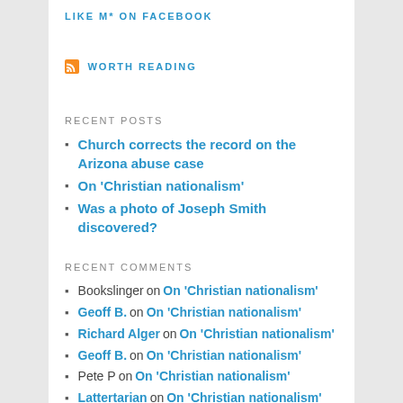LIKE M* ON FACEBOOK
WORTH READING
RECENT POSTS
Church corrects the record on the Arizona abuse case
On 'Christian nationalism'
Was a photo of Joseph Smith discovered?
RECENT COMMENTS
Bookslinger on On 'Christian nationalism'
Geoff B. on On 'Christian nationalism'
Richard Alger on On 'Christian nationalism'
Geoff B. on On 'Christian nationalism'
Pete P on On 'Christian nationalism'
Lattertarian on On 'Christian nationalism'
Pete P on On 'Christian nationalism'
Lattertarian on On 'Christian nationalism'
A Disciple on On 'Christian nationalism'